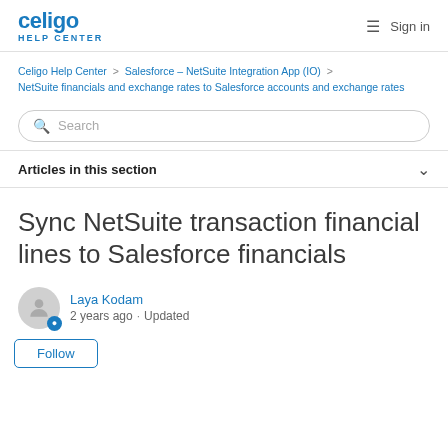celigo HELP CENTER
Celigo Help Center > Salesforce – NetSuite Integration App (IO) > NetSuite financials and exchange rates to Salesforce accounts and exchange rates
Search
Articles in this section
Sync NetSuite transaction financial lines to Salesforce financials
Laya Kodam
2 years ago · Updated
Follow